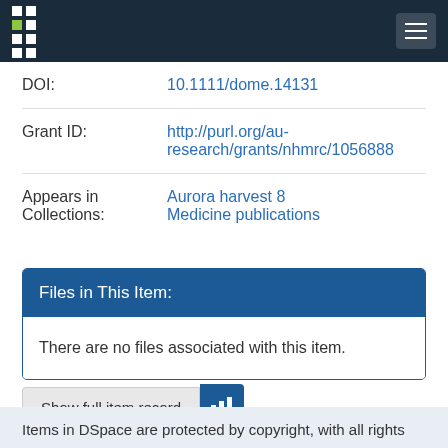DSpace navigation bar with logo and hamburger menu
DOI: 10.1111/dome.14131
Grant ID: http://purl.org/au-research/grants/nhmrc/1056888
Appears in Collections: Aurora harvest 8 / Medicine publications
Files in This Item:
There are no files associated with this item.
Show full item record
Items in DSpace are protected by copyright, with all rights